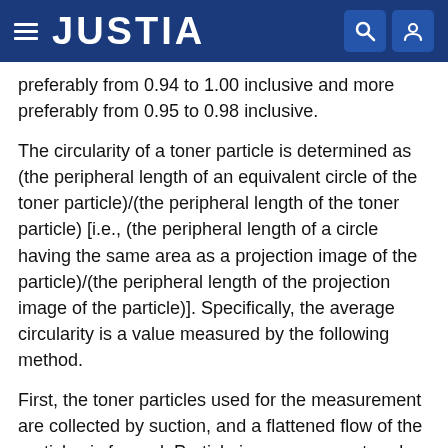JUSTIA
preferably from 0.94 to 1.00 inclusive and more preferably from 0.95 to 0.98 inclusive.
The circularity of a toner particle is determined as (the peripheral length of an equivalent circle of the toner particle)/(the peripheral length of the toner particle) [i.e., (the peripheral length of a circle having the same area as a projection image of the particle)/(the peripheral length of the projection image of the particle)]. Specifically, the average circularity is a value measured by the following method.
First, the toner particles used for the measurement are collected by suction, and a flattened flow of the particles is formed. Particle images are captured as still images using flashes of light, and the average circularity is determined by subjecting the particle images to image analysis using a flow-type particle image analyzer (FPIA-